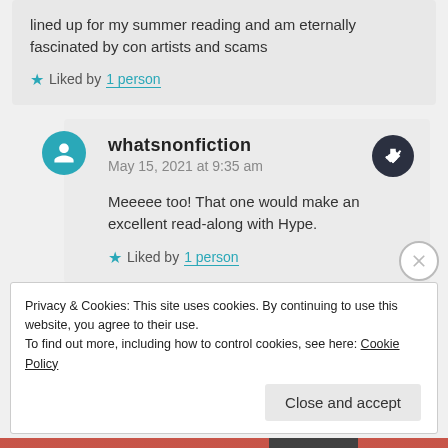lined up for my summer reading and am eternally fascinated by con artists and scams
Liked by 1 person
whatsnonfiction
May 15, 2021 at 9:35 am
Meeeee too! That one would make an excellent read-along with Hype.
Liked by 1 person
Privacy & Cookies: This site uses cookies. By continuing to use this website, you agree to their use.
To find out more, including how to control cookies, see here: Cookie Policy
Close and accept